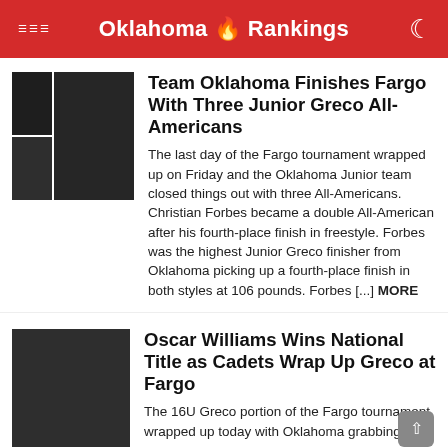Oklahoma 🔥 Rankings
[Figure (photo): Three dark photo panels of wrestlers in red singlets]
Team Oklahoma Finishes Fargo With Three Junior Greco All-Americans
The last day of the Fargo tournament wrapped up on Friday and the Oklahoma Junior team closed things out with three All-Americans. Christian Forbes became a double All-American after his fourth-place finish in freestyle. Forbes was the highest Junior Greco finisher from Oklahoma picking up a fourth-place finish in both styles at 106 pounds. Forbes [...] MORE
[Figure (photo): Photo of a wrestler in a red singlet, dark background]
Oscar Williams Wins National Title as Cadets Wrap Up Greco at Fargo
The 16U Greco portion of the Fargo tournament wrapped up today with Oklahoma grabbing